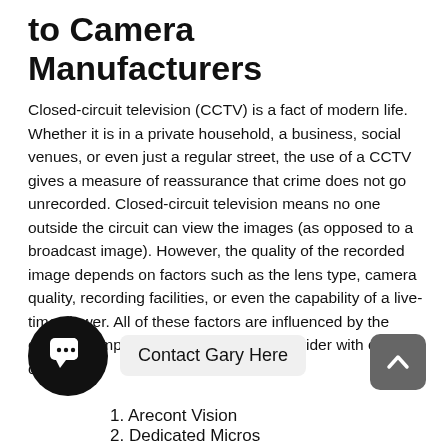to Camera Manufacturers
Closed-circuit television (CCTV) is a fact of modern life. Whether it is in a private household, a business, social venues, or even just a regular street, the use of a CCTV gives a measure of reassurance that crime does not go unrecorded. Closed-circuit television means no one outside the circuit can view the images (as opposed to a broadcast image). However, the quality of the recorded image depends on factors such as the lens type, camera quality, recording facilities, or even the capability of a live-time viewer. All of these factors are influenced by the camera company, so choosing your provider with care is critical.
[Figure (illustration): Chat widget icon — black circle with speech bubble icon containing ellipsis]
Contact Gary Here
[Figure (illustration): Up arrow button — dark grey rounded square with upward chevron]
1. Arecont Vision
2. Dedicated Micros